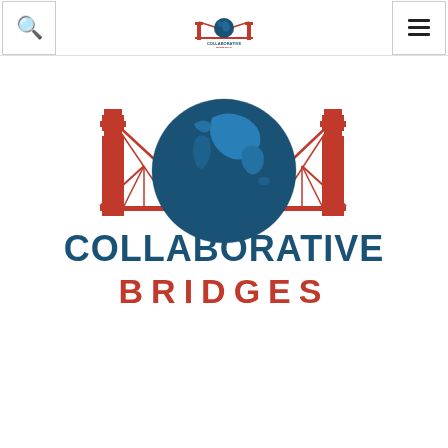[Figure (logo): Collaborative Bridges small navigation logo in header]
[Figure (logo): Collaborative Bridges main logo: red bridge structure with blue globe showing Asia-Pacific region, text COLLABORATIVE BRIDGES in blue and red]